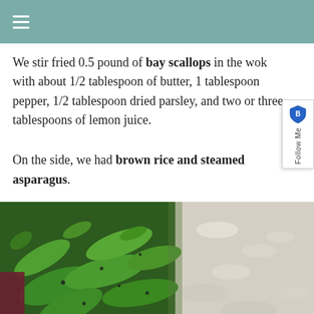≡
We stir fried 0.5 pound of bay scallops in the wok with about 1/2 tablespoon of butter, 1 tablespoon pepper, 1/2 tablespoon dried parsley, and two or three tablespoons of lemon juice.
On the side, we had brown rice and steamed asparagus.
[Figure (photo): Close-up photo of steamed asparagus spears on the left and white rice on the right, shot from above]